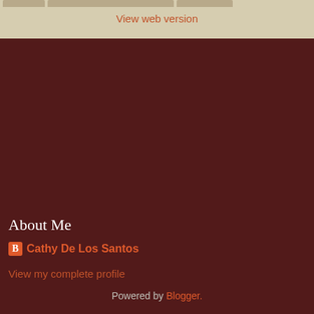View web version
About Me
Cathy De Los Santos
View my complete profile
Powered by Blogger.